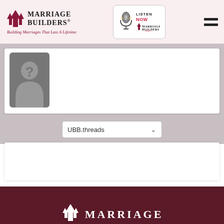Marriage Builders® — Building Marriages That Last A Lifetime — Listen Now Marriage Builders Radio
[Figure (screenshot): User profile placeholder avatar with question mark silhouette on grey background, inside a white card]
UBB.threads
[Figure (screenshot): Empty white content box below dropdown]
MARRIAGE (partial logo visible at bottom)